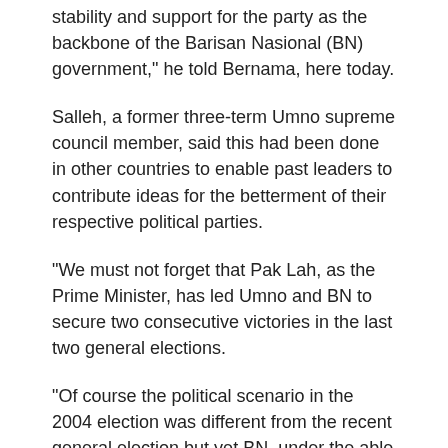stability and support for the party as the backbone of the Barisan Nasional (BN) government," he told Bernama, here today.
Salleh, a former three-term Umno supreme council member, said this had been done in other countries to enable past leaders to contribute ideas for the betterment of their respective political parties.
"We must not forget that Pak Lah, as the Prime Minister, has led Umno and BN to secure two consecutive victories in the last two general elections.
"Of course the political scenario in the 2004 election was different from the recent general election but yet BN, under the able leadership of Pak Lah, won the March 2008 election," he said.